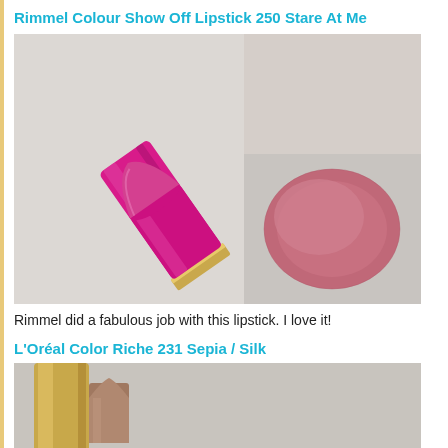Rimmel Colour Show Off Lipstick 250 Stare At Me
[Figure (photo): Photo of a hot pink metallic Rimmel lipstick tube with gold band, next to a pink-rose lip swatch on white background]
Rimmel did a fabulous job with this lipstick. I love it!
L'Oréal Color Riche 231 Sepia / Silk
[Figure (photo): Photo of a gold-toned L'Oréal Color Riche lipstick tube with a nude/taupe lipstick swatch visible]